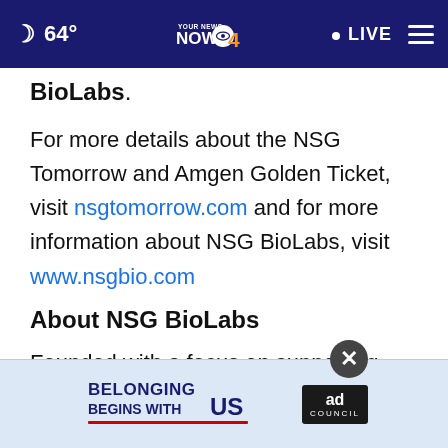64° YOUR NEWS NOW 4 • LIVE
BioLabs.
For more details about the NSG Tomorrow and Amgen Golden Ticket, visit nsgtomorrow.com and for more information about NSG BioLabs, visit www.nsgbio.com
About NSG BioLabs
Founded with a focus on supporting early-stage biotech companies, NSG BioLabs offers state-of-the-art managed operations, capital efficiency, the expertise of
[Figure (other): Ad banner: Belonging Begins With US, Ad Council logo]